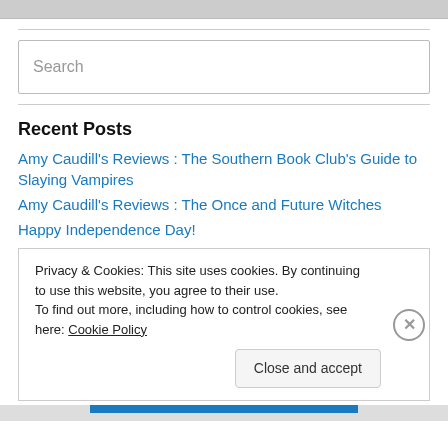[Figure (screenshot): Top image strip placeholder]
Search
Recent Posts
Amy Caudill's Reviews : The Southern Book Club's Guide to Slaying Vampires
Amy Caudill's Reviews : The Once and Future Witches
Happy Independence Day!
Privacy & Cookies: This site uses cookies. By continuing to use this website, you agree to their use. To find out more, including how to control cookies, see here: Cookie Policy
Close and accept